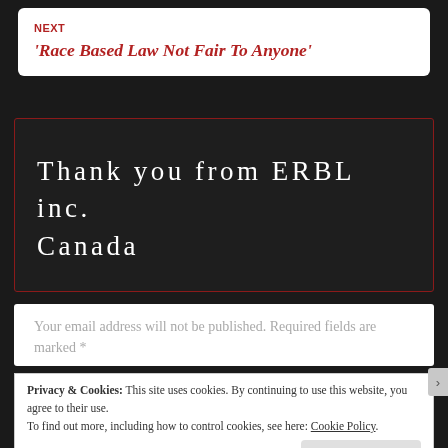NEXT
'Race Based Law Not Fair To Anyone'
[Figure (other): Dark banner with text: Thank you from ERBL inc. Canada]
Your email address will not be published. Required fields are marked *
Privacy & Cookies: This site uses cookies. By continuing to use this website, you agree to their use. To find out more, including how to control cookies, see here: Cookie Policy
Close and accept